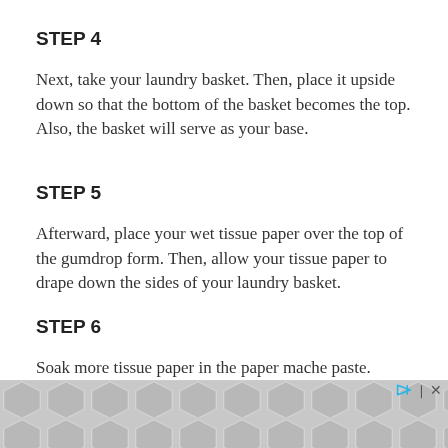STEP 4
Next, take your laundry basket. Then, place it upside down so that the bottom of the basket becomes the top. Also, the basket will serve as your base.
STEP 5
Afterward, place your wet tissue paper over the top of the gumdrop form. Then, allow your tissue paper to drape down the sides of your laundry basket.
STEP 6
Soak more tissue paper in the paper mache paste. Then, cover the sides of the laundry basket. Make sure to cover the primary piece of tissue paper. After
[Figure (other): Advertisement banner with gray hexagon pattern and play/close icons]